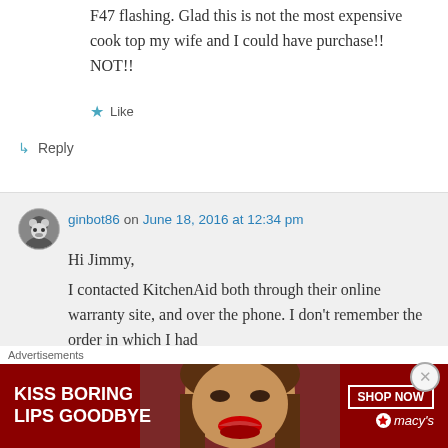F47 flashing. Glad this is not the most expensive cook top my wife and I could have purchase!! NOT!!
★ Like
↳ Reply
ginbot86 on June 18, 2016 at 12:34 pm
Hi Jimmy,
I contacted KitchenAid both through their online warranty site, and over the phone. I don't remember the order in which I had
Advertisements
[Figure (photo): Advertisement banner for Macy's: 'KISS BORING LIPS GOODBYE' with SHOP NOW button and Macy's logo, woman's face with red lips, dark red background]